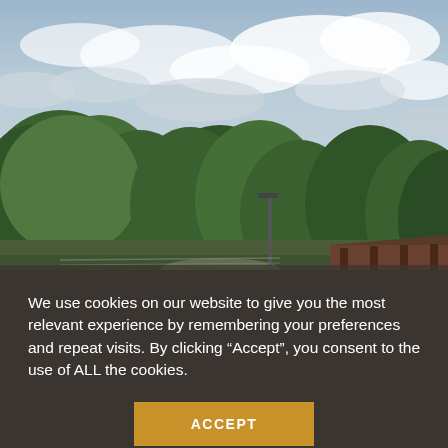[Figure (photo): Outdoor park scene with lush green trees in the foreground and middle ground, a cloudy overcast sky filling the upper half, a lamp post in the center-right area, and a rustic roofed structure on the right side. A path and some fencing are visible at the bottom.]
We use cookies on our website to give you the most relevant experience by remembering your preferences and repeat visits. By clicking “Accept”, you consent to the use of ALL the cookies.